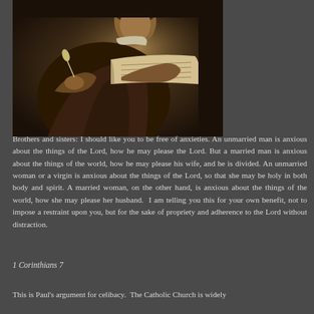[Figure (photo): Painting of a figure seated at a desk, holding a quill pen and writing or reading from a large open book or manuscript. Dark tones, classical style reminiscent of Rembrandt.]
Brothers and sisters: I should like you to be free of anxieties. An unmarried man is anxious about the things of the Lord, how he may please the Lord. But a married man is anxious about the things of the world, how he may please his wife, and he is divided. An unmarried woman or a virgin is anxious about the things of the Lord, so that she may be holy in both body and spirit. A married woman, on the other hand, is anxious about the things of the world, how she may please her husband.  I am telling you this for your own benefit, not to impose a restraint upon you, but for the sake of propriety and adherence to the Lord without distraction.
1 Corinthians 7
This is Paul's argument for celibacy.  The Catholic Church is widely